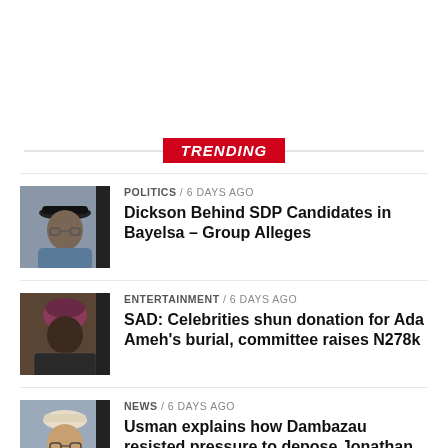TRENDING
POLITICS / 6 days ago
Dickson Behind SDP Candidates in Bayelsa – Group Alleges
[Figure (photo): Portrait photo of a man wearing a black hat and grey traditional attire]
ENTERTAINMENT / 6 days ago
SAD: Celebrities shun donation for Ada Ameh's burial, committee raises N278k
[Figure (photo): Portrait photo of a woman in patterned traditional attire]
NEWS / 6 days ago
Usman explains how Dambazau resisted pressure to depose Jonathan
[Figure (photo): Portrait photo of an elderly man in white traditional cap and suit]